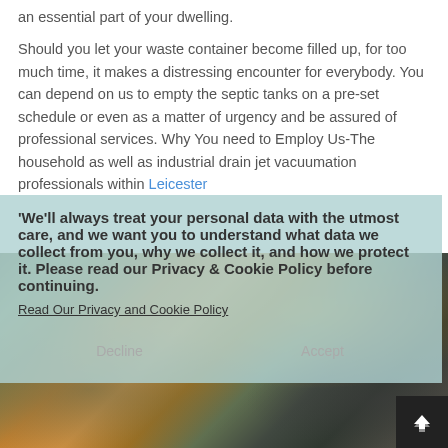an essential part of your dwelling. Should you let your waste container become filled up, for too much time, it makes a distressing encounter for everybody. You can depend on us to empty the septic tanks on a pre-set schedule or even as a matter of urgency and be assured of professional services. Why You need to Employ Us-The household as well as industrial drain jet vacuumation professionals within Leicester
We'll always treat your personal data with the utmost care, and we want you to understand what data we collect from you, why we collect it, and how we protect it. Please read our Privacy & Cookie Policy before continuing. Read Our Privacy and Cookie Policy Decline Accept
[Figure (photo): Industrial vacuum tanker truck machinery with workers in high-visibility clothing, showing pipes, equipment and yellow tanker vehicle]